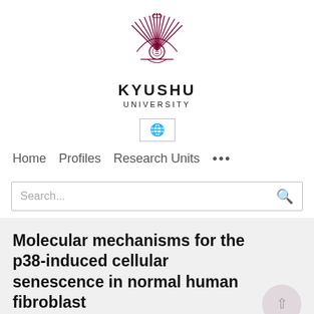[Figure (logo): Kyushu University logo — stylized phoenix/feather crest in dark red/maroon with a crown and central emblem]
KYUSHU
UNIVERSITY
[Figure (other): Globe icon button inside a bordered rectangle, used as a language selector]
Home   Profiles   Research Units   •••
Search...
Molecular mechanisms for the p38-induced cellular senescence in normal human fibroblast
Sakura Honda, Sian Nurse, Toshiro Fujiki, Yoshimori...